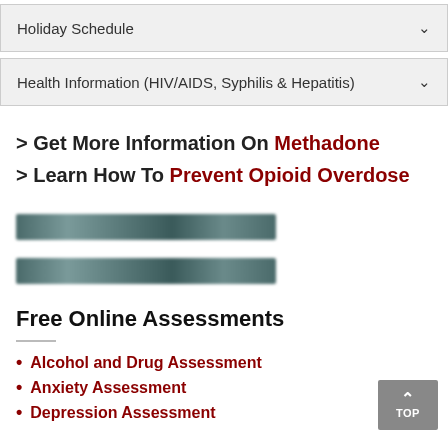Holiday Schedule
Health Information (HIV/AIDS, Syphilis & Hepatitis)
> Get More Information On Methadone
> Learn How To Prevent Opioid Overdose
[Figure (other): Blurred/redacted horizontal bar image 1]
[Figure (other): Blurred/redacted horizontal bar image 2]
Free Online Assessments
Alcohol and Drug Assessment
Anxiety Assessment
Depression Assessment